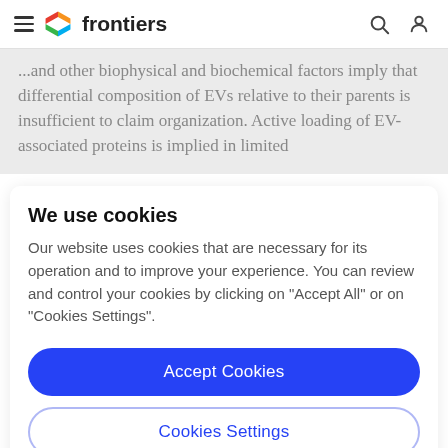frontiers
...and other biophysical and biochemical factors imply that differential composition of EVs relative to their parents is insufficient to claim organization. Active loading of EV-associated proteins is implied in limited
We use cookies
Our website uses cookies that are necessary for its operation and to improve your experience. You can review and control your cookies by clicking on "Accept All" or on "Cookies Settings".
Accept Cookies
Cookies Settings